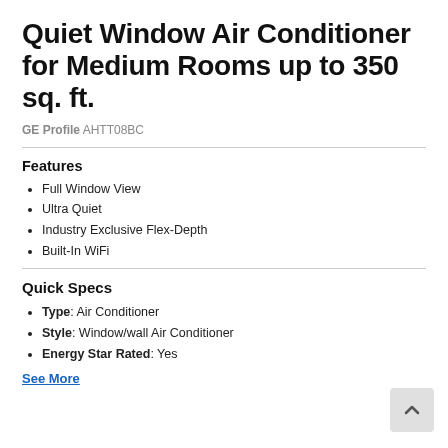Quiet Window Air Conditioner for Medium Rooms up to 350 sq. ft.
GE Profile AHTT08BC
Features
Full Window View
Ultra Quiet
Industry Exclusive Flex-Depth
Built-In WiFi
Quick Specs
Type: Air Conditioner
Style: Window/wall Air Conditioner
Energy Star Rated: Yes
See More